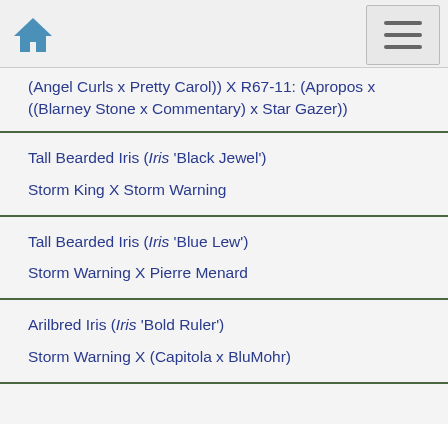(Angel Curls x Pretty Carol)) X R67-11: (Apropos x ((Blarney Stone x Commentary) x Star Gazer))
Tall Bearded Iris (Iris 'Black Jewel')
Storm King X Storm Warning
Tall Bearded Iris (Iris 'Blue Lew')
Storm Warning X Pierre Menard
Arilbred Iris (Iris 'Bold Ruler')
Storm Warning X (Capitola x BluMohr)